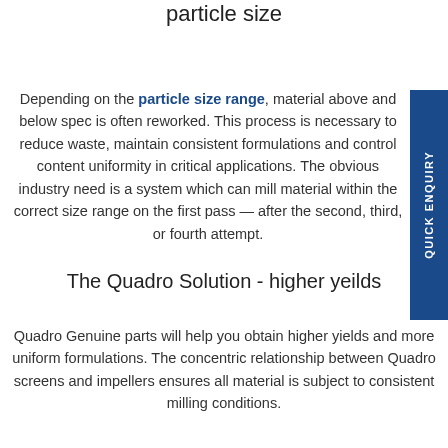Challenge your mill to achieve the desired particle size
Depending on the particle size range, material above and below spec is often reworked. This process is necessary to reduce waste, maintain consistent formulations and control content uniformity in critical applications. The obvious industry need is a system which can mill material within the correct size range on the first pass — after the second, third, or fourth attempt.
The Quadro Solution - higher yeilds
Quadro Genuine parts will help you obtain higher yields and more uniform formulations. The concentric relationship between Quadro screens and impellers ensures all material is subject to consistent milling conditions.